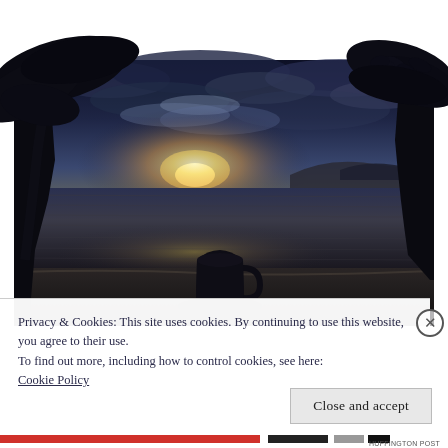[Figure (photo): Sunset beach scene with a silhouette of a coffee cup in the foreground on a table, ocean water in the middle ground reflecting the setting sun with orange and golden light, silhouetted tropical trees framing the top and sides, cloudy sky with warm light near the horizon, and distant hills.]
Privacy & Cookies: This site uses cookies. By continuing to use this website, you agree to their use.
To find out more, including how to control cookies, see here:
Cookie Policy
Close and accept